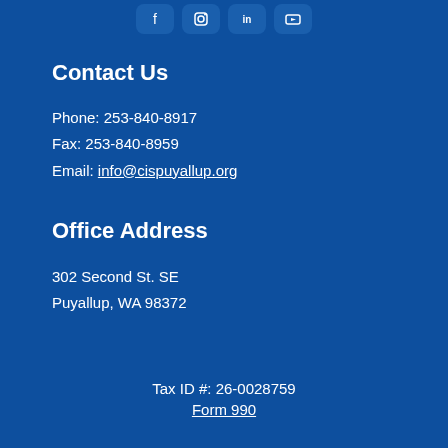[Figure (illustration): Four social media icon buttons (Facebook, Instagram, LinkedIn, YouTube) in rounded rectangle shapes at the top center]
Contact Us
Phone: 253-840-8917
Fax: 253-840-8959
Email: info@cispuyallup.org
Office Address
302 Second St. SE
Puyallup, WA 98372
Tax ID #: 26-0028759
Form 990